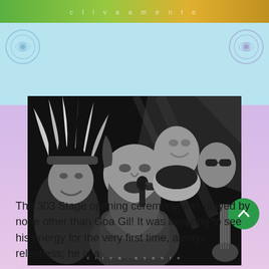[Figure (photo): Top banner strip with colorful background and text 'c l i v a a m e n t e' in light letters]
[Figure (photo): Black and white photograph of musicians performing on stage. A bearded man with long hair sings into a microphone in the foreground; a man with a traditional feathered headdress smiles to the left; two other men are visible in the background. A watermark reads 'c l i v a . a v a n t e' at the bottom.]
The 303 Stage opening ceremony was played by none other than Goa Gil! It was amazing to see his energy for the very first time, always relentless; he is a